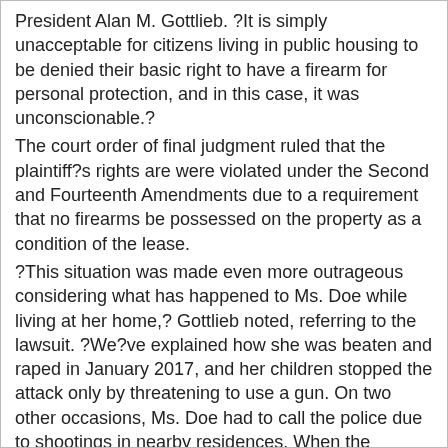President Alan M. Gottlieb. ?It is simply unacceptable for citizens living in public housing to be denied their basic right to have a firearm for personal protection, and in this case, it was unconscionable.? The court order of final judgment ruled that the plaintiff?s rights are were violated under the Second and Fourteenth Amendments due to a requirement that no firearms be possessed on the property as a condition of the lease. ?This situation was made even more outrageous considering what has happened to Ms. Doe while living at her home,? Gottlieb noted, referring to the lawsuit. ?We?ve explained how she was beaten and raped in January 2017, and her children stopped the attack only by threatening to use a gun. On two other occasions, Ms. Doe had to call the police due to shootings in nearby residences. When the housing authority threatened to terminate her lease due to the gun in her residence, they insisted that the building is safe, so she doesn?t need a gun.?